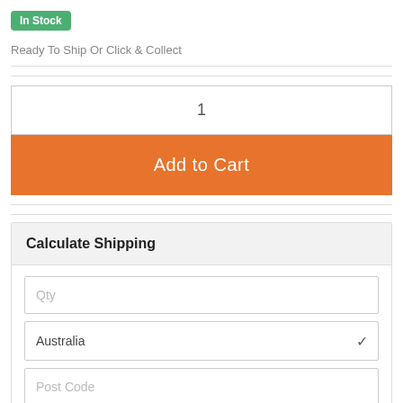In Stock
Ready To Ship Or Click & Collect
1
Add to Cart
Calculate Shipping
Qty
Australia
Post Code
Calculate